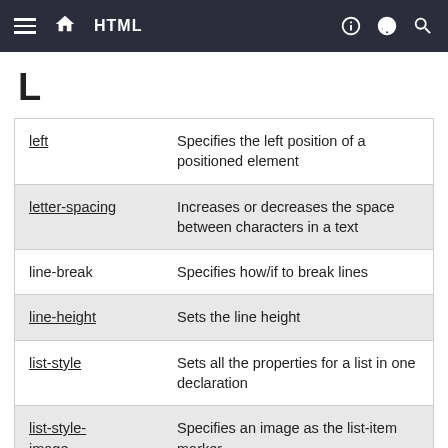HTML
L
| left | Specifies the left position of a positioned element |
| letter-spacing | Increases or decreases the space between characters in a text |
| line-break | Specifies how/if to break lines |
| line-height | Sets the line height |
| list-style | Sets all the properties for a list in one declaration |
| list-style-image | Specifies an image as the list-item marker |